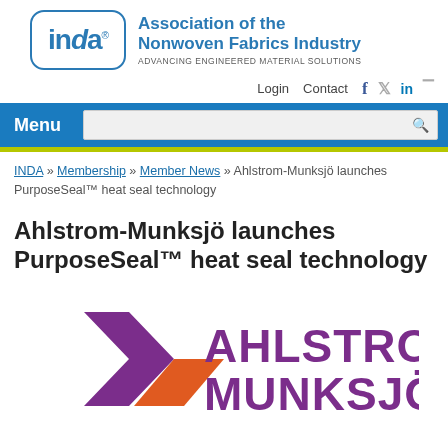[Figure (logo): INDA Association of the Nonwoven Fabrics Industry logo with tagline Advancing Engineered Material Solutions]
Login   Contact
Menu [search bar]
INDA » Membership » Member News » Ahlstrom-Munksjö launches PurposeSeal™ heat seal technology
Ahlstrom-Munksjö launches PurposeSeal™ heat seal technology
[Figure (logo): Ahlstrom-Munksjö company logo with purple arrow/chevron mark and orange parallelogram accent]